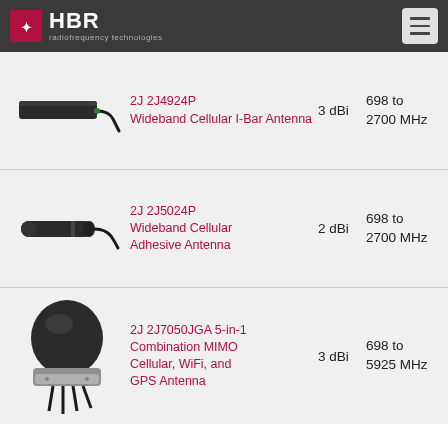HBR radiofrequency technologies
[Figure (photo): HBR 2J 2J4924P Wideband Cellular I-Bar Antenna - flat rectangular black antenna with cable]
2J 2J4924P Wideband Cellular I-Bar Antenna   3 dBi   698 to 2700 MHz
[Figure (photo): HBR 2J 2J5024P Wideband Cellular Adhesive Antenna - cylindrical black antenna with cable]
2J 2J5024P Wideband Cellular Adhesive Antenna   2 dBi   698 to 2700 MHz
[Figure (photo): HBR 2J 2J7050JGA 5-in-1 Combination MIMO Cellular, WiFi, and GPS Antenna - dome-style antenna with metallic base]
2J 2J7050JGA 5-in-1 Combination MIMO Cellular, WiFi, and GPS Antenna   3 dBi   698 to 5925 MHz